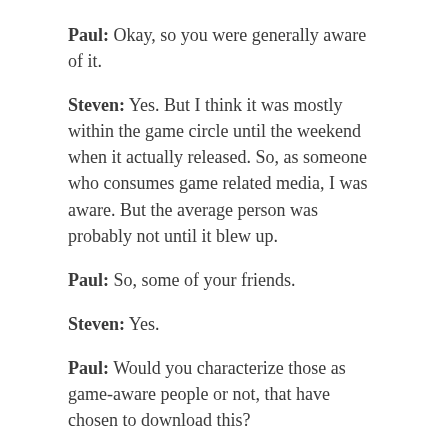Paul: Okay, so you were generally aware of it.
Steven: Yes. But I think it was mostly within the game circle until the weekend when it actually released. So, as someone who consumes game related media, I was aware. But the average person was probably not until it blew up.
Paul: So, some of your friends.
Steven: Yes.
Paul: Would you characterize those as game-aware people or not, that have chosen to download this?
Steven: Yes. Some of them are. Some of them are not. Some of them caught onto the wave. They saw other people playing it and downloaded it.